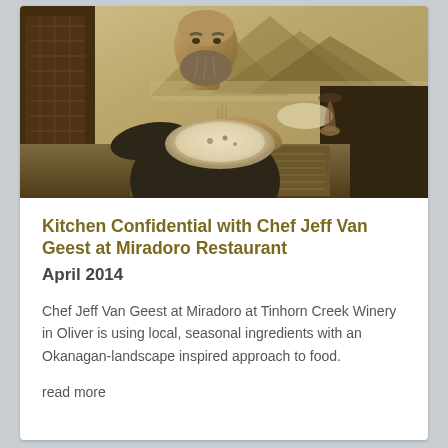[Figure (photo): Sepia-toned photo of Chef Jeff Van Geest sitting at an outdoor table at Miradoro restaurant, eating from a plate. He is wearing a black Miradoro t-shirt. Mountains and vineyard landscape visible in the background. A wine glass and another plate are on the table.]
Kitchen Confidential with Chef Jeff Van Geest at Miradoro Restaurant
April 2014
Chef Jeff Van Geest at Miradoro at Tinhorn Creek Winery in Oliver is using local, seasonal ingredients with an Okanagan-landscape inspired approach to food.
read more